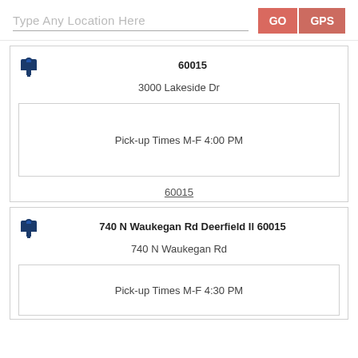Type Any Location Here
GO
GPS
60015
3000 Lakeside Dr
Pick-up Times M-F 4:00 PM
60015
740 N Waukegan Rd Deerfield Il 60015
740 N Waukegan Rd
Pick-up Times M-F 4:30 PM